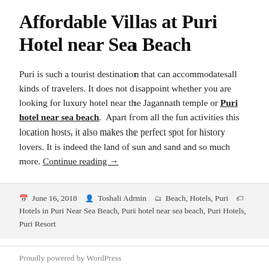Affordable Villas at Puri Hotel near Sea Beach
Puri is such a tourist destination that can accommodatesall kinds of travelers. It does not disappoint whether you are looking for luxury hotel near the Jagannath temple or Puri hotel near sea beach.  Apart from all the fun activities this location hosts, it also makes the perfect spot for history lovers. It is indeed the land of sun and sand and so much more. Continue reading →
June 16, 2018   Toshali Admin   Beach, Hotels, Puri Hotels in Puri Near Sea Beach, Puri hotel near sea beach, Puri Hotels, Puri Resort
Proudly powered by WordPress